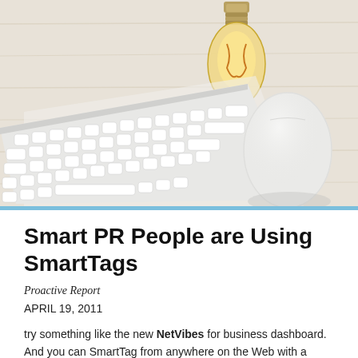[Figure (photo): Overhead photo of a white Apple keyboard and Apple Magic Mouse on a light wood desk surface, with an Edison-style vintage lightbulb in the upper center area.]
Smart PR People are Using SmartTags
Proactive Report
APRIL 19, 2011
try something like the new NetVibes for business dashboard. And you can SmartTag from anywhere on the Web with a browser button from your mobile device using Netvibes